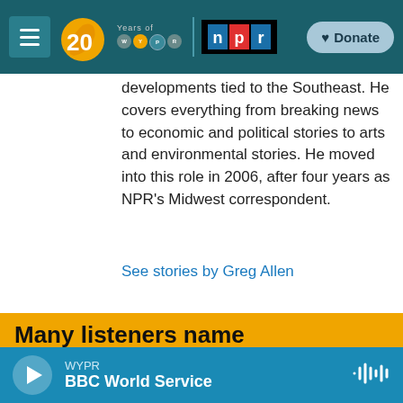[Figure (screenshot): WYPR 20 Years navigation bar with hamburger menu, 20 years of WYPR logo in orange, NPR logo, and Donate button]
developments tied to the Southeast. He covers everything from breaking news to economic and political stories to arts and environmental stories. He moved into this role in 2006, after four years as NPR's Midwest correspondent.
See stories by Greg Allen
Many listeners name WYPR in their will...
WYPR BBC World Service